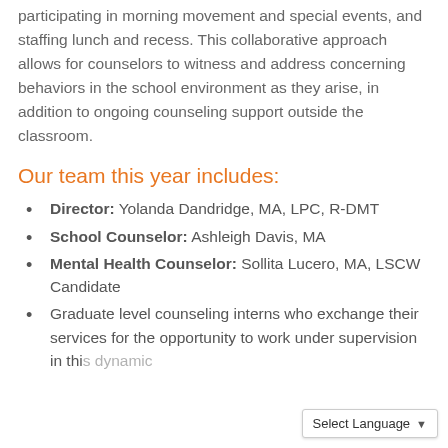participating in morning movement and special events, and staffing lunch and recess. This collaborative approach allows for counselors to witness and address concerning behaviors in the school environment as they arise, in addition to ongoing counseling support outside the classroom.
Our team this year includes:
Director: Yolanda Dandridge, MA, LPC, R-DMT
School Counselor: Ashleigh Davis, MA
Mental Health Counselor: Sollita Lucero, MA, LSCW Candidate
Graduate level counseling interns who exchange their services for the opportunity to work under supervision in this dynamic